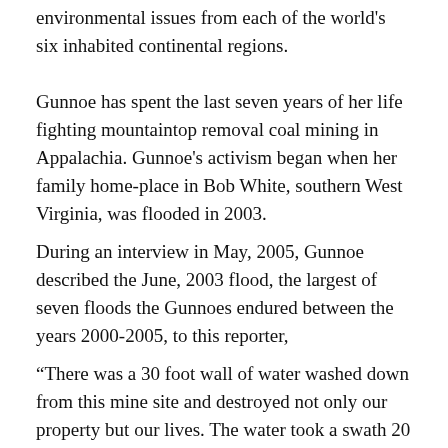environmental issues from each of the world's six inhabited continental regions.
Gunnoe has spent the last seven years of her life fighting mountaintop removal coal mining in Appalachia. Gunnoe's activism began when her family home-place in Bob White, southern West Virginia, was flooded in 2003.
During an interview in May, 2005, Gunnoe described the June, 2003 flood, the largest of seven floods the Gunnoes endured between the years 2000-2005, to this reporter,
“There was a 30 foot wall of water washed down from this mine site and destroyed not only our property but our lives. The water took a swath 20 feet deep and 67 feet wide right through the middle of everything we owned. It filled my barn full of rock and debris so much that we can’t even open the doors. It washed through